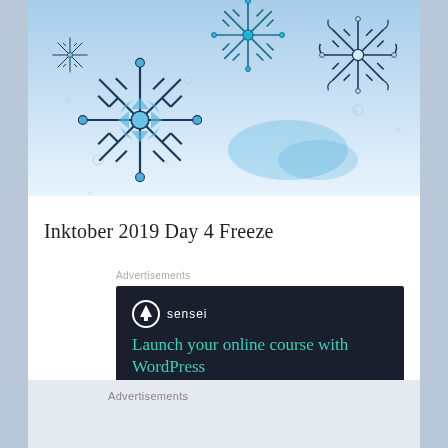[Figure (illustration): Winter/Christmas themed illustration with blue and black snowflakes on a light blue background]
Inktober 2019 Day 4 Freeze
Advertisements
[Figure (screenshot): Sensei advertisement: 'Launch your online course with WordPress' with Learn More button on dark background]
Advertisements